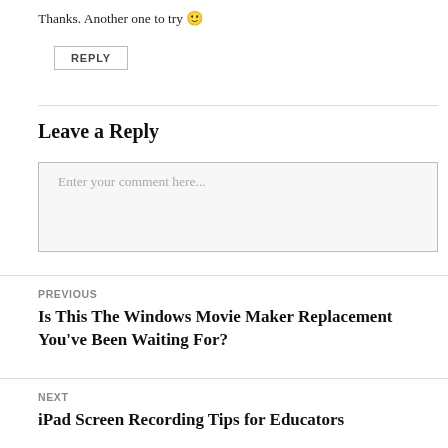Thanks. Another one to try 🙂
REPLY
Leave a Reply
Enter your comment here...
PREVIOUS
Is This The Windows Movie Maker Replacement You've Been Waiting For?
NEXT
iPad Screen Recording Tips for Educators